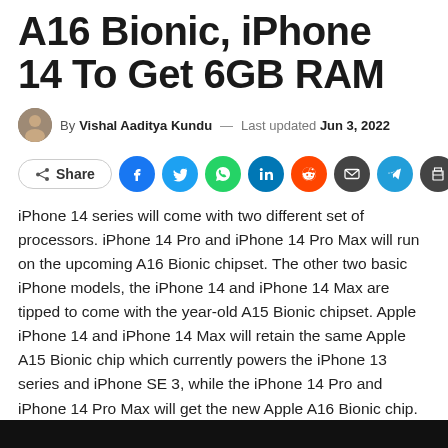A16 Bionic, iPhone 14 To Get 6GB RAM
By Vishal Aaditya Kundu — Last updated Jun 3, 2022
[Figure (infographic): Social share buttons row: Share, Facebook, Twitter, WhatsApp, LinkedIn, Reddit, Email, Telegram, Print]
iPhone 14 series will come with two different set of processors. iPhone 14 Pro and iPhone 14 Pro Max will run on the upcoming A16 Bionic chipset. The other two basic iPhone models, the iPhone 14 and iPhone 14 Max are tipped to come with the year-old A15 Bionic chipset. Apple iPhone 14 and iPhone 14 Max will retain the same Apple A15 Bionic chip which currently powers the iPhone 13 series and iPhone SE 3, while the iPhone 14 Pro and iPhone 14 Pro Max will get the new Apple A16 Bionic chip.